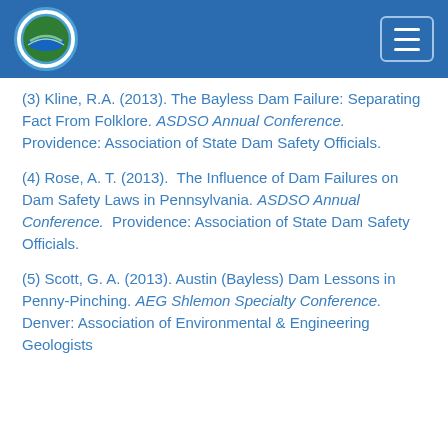[Logo] [Menu button]
(3) Kline, R.A. (2013). The Bayless Dam Failure: Separating Fact From Folklore. ASDSO Annual Conference. Providence: Association of State Dam Safety Officials.
(4) Rose, A. T. (2013).  The Influence of Dam Failures on Dam Safety Laws in Pennsylvania. ASDSO Annual Conference.  Providence: Association of State Dam Safety Officials.
(5) Scott, G. A. (2013). Austin (Bayless) Dam Lessons in Penny-Pinching. AEG Shlemon Specialty Conference. Denver: Association of Environmental & Engineering Geologists...